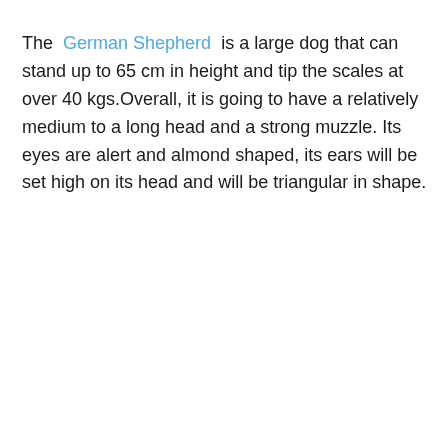The German Shepherd is a large dog that can stand up to 65 cm in height and tip the scales at over 40 kgs.Overall, it is going to have a relatively medium to a long head and a strong muzzle. Its eyes are alert and almond shaped, its ears will be set high on its head and will be triangular in shape.